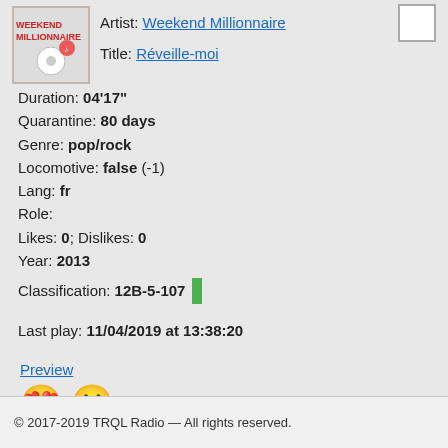Artist: Weekend Millionnaire
Title: Réveille-moi
Duration: 04'17"
Quarantine: 80 days
Genre: pop/rock
Locomotive: false (-1)
Lang: fr
Role:
Likes: 0; Dislikes: 0
Year: 2013
Classification: 12B-5-107
Last play: 11/04/2019 at 13:38:20
Preview
© 2017-2019 TRQL Radio — All rights reserved.